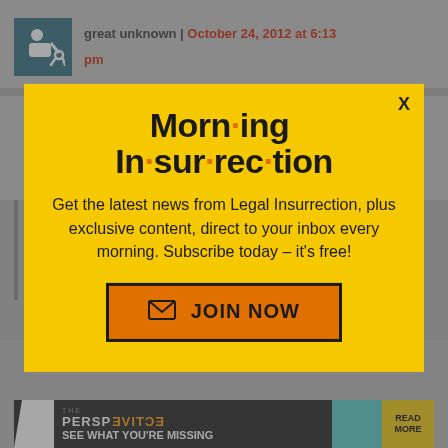great unknown | October 24, 2012 at 6:13 pm
[Figure (screenshot): Modal popup overlay for Morning Insurrection newsletter signup from Legal Insurrection website]
Morn·ing In·sur·rec·tion
Get the latest news from Legal Insurrection, plus exclusive content, direct to your inbox every morning. Subscribe today – it's free!
JOIN NOW
don't
Back to top
THE PERSPECTIVE SEE WHAT YOU'RE MISSING READ MORE